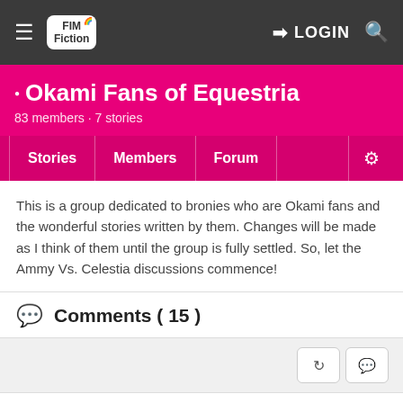FIM Fiction — LOGIN
Okami Fans of Equestria
83 members · 7 stories
Stories | Members | Forum | ⚙
This is a group dedicated to bronies who are Okami fans and the wonderful stories written by them. Changes will be made as I think of them until the group is fully settled. So, let the Ammy Vs. Celestia discussions commence!
Comments ( 15 )
thegamerator10